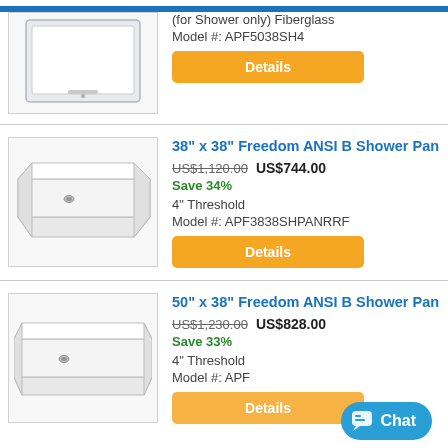[Figure (photo): Partial product image of a fiberglass shower unit, white]
(for Shower only) Fiberglass
Model #: APF5038SH4
Details
[Figure (photo): White rectangular shower pan, 38x38 inch, viewed at angle]
38" x 38" Freedom ANSI B Shower Pan
US$1,120.00  US$744.00
Save 34%
4" Threshold
Model #: APF3838SHPANRRF
Details
[Figure (photo): White rectangular shower pan, 50x38 inch, viewed at angle]
50" x 38" Freedom ANSI B Shower Pan
US$1,230.00  US$828.00
Save 33%
4" Threshold
Model #: APF